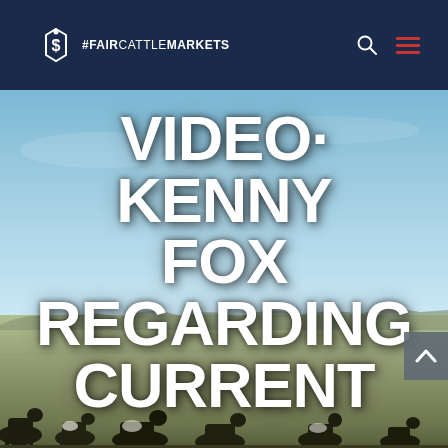#FAIRCATTLEMARKETS
[Figure (photo): Outdoor landscape photo showing a wide open prairie/farmland scene with blue sky, flat fields, and cattle (black and white cattle) in the foreground at the bottom of the image.]
VIDEO· KENNY FOX REGARDING CURRENT